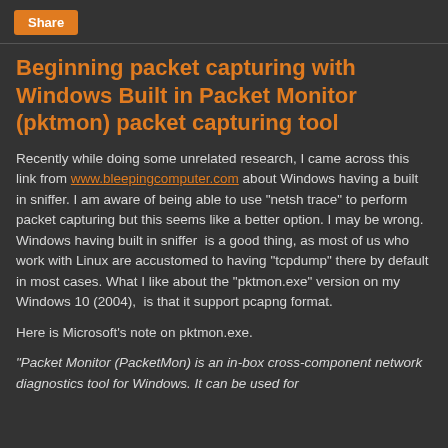Share
Beginning packet capturing with Windows Built in Packet Monitor (pktmon) packet capturing tool
Recently while doing some unrelated research, I came across this link from www.bleepingcomputer.com about Windows having a built in sniffer. I am aware of being able to use "netsh trace" to perform packet capturing but this seems like a better option. I may be wrong. Windows having built in sniffer  is a good thing, as most of us who work with Linux are accustomed to having "tcpdump" there by default in most cases. What I like about the "pktmon.exe" version on my Windows 10 (2004),  is that it support pcapng format.
Here is Microsoft's note on pktmon.exe.
"Packet Monitor (PacketMon) is an in-box cross-component network diagnostics tool for Windows. It can be used for